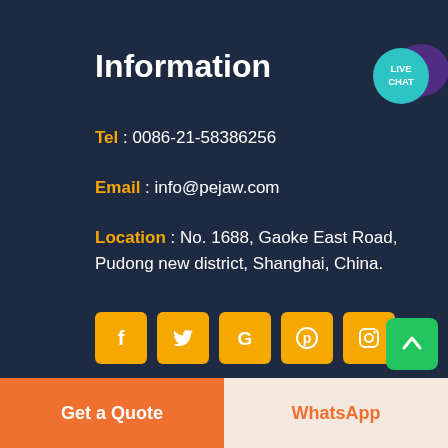Information
Tel : 0086-21-58386256
Email : info@pejaw.com
Location : No. 1688, Gaoke East Road, Pudong new district, Shanghai, China.
[Figure (infographic): Live Chat badge - circular teal/purple speech bubble icon with LIVE CHAT text]
[Figure (infographic): Row of 5 social media icon buttons in orange/yellow: Facebook (f), Twitter (bird), Google (G), Pinterest (circle with p), Instagram (camera outline)]
Get a Quote
WhatsApp